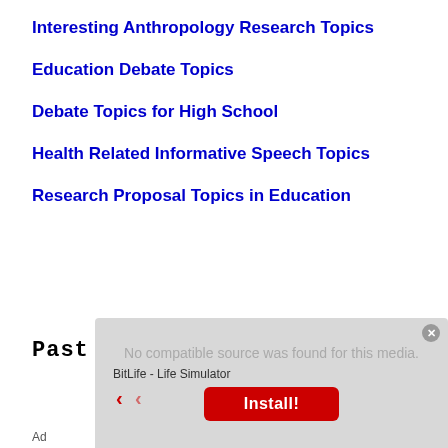Interesting Anthropology Research Topics
Education Debate Topics
Debate Topics for High School
Health Related Informative Speech Topics
Research Proposal Topics in Education
Past Papers
[Figure (screenshot): Ad overlay showing 'No compatible source was found for this media.' message with BitLife - Life Simulator app install button in red, and a close button. Navigation arrows visible at bottom left of overlay.]
Ad